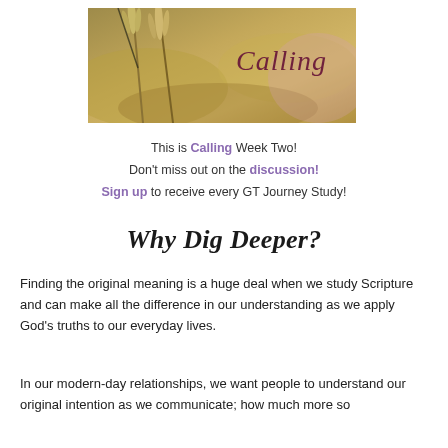[Figure (photo): Banner image of wheat stalks against a blurred warm background with the word 'Calling' written in cursive dark red/maroon script on the right side]
This is Calling Week Two! Don't miss out on the discussion! Sign up to receive every GT Journey Study!
Why Dig Deeper?
Finding the original meaning is a huge deal when we study Scripture and can make all the difference in our understanding as we apply God's truths to our everyday lives.
In our modern-day relationships, we want people to understand our original intention as we communicate; how much more so